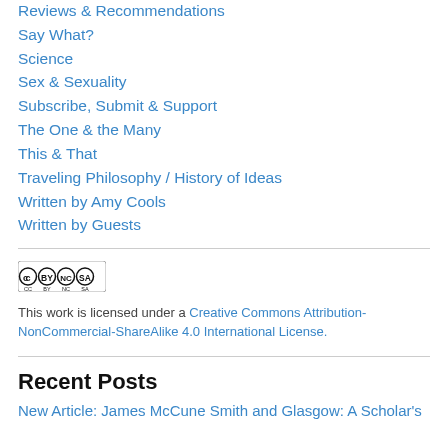Reviews & Recommendations
Say What?
Science
Sex & Sexuality
Subscribe, Submit & Support
The One & the Many
This & That
Traveling Philosophy / History of Ideas
Written by Amy Cools
Written by Guests
[Figure (logo): Creative Commons BY NC SA license badge]
This work is licensed under a Creative Commons Attribution-NonCommercial-ShareAlike 4.0 International License.
Recent Posts
New Article: James McCune Smith and Glasgow: A Scholar's